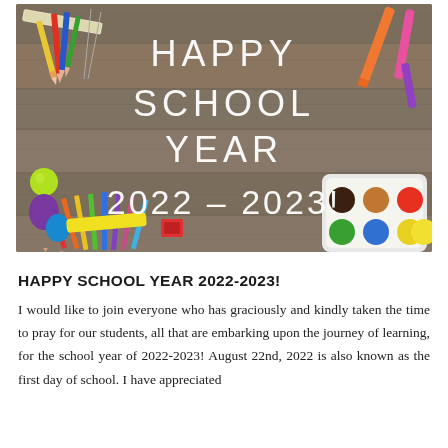[Figure (photo): Photo of school supplies (colored pencils, paints, erasers, ruler) arranged on a wooden background with the text 'HAPPY SCHOOL YEAR 2022-2023!' overlaid in white letters]
HAPPY SCHOOL YEAR 2022-2023!
I would like to join everyone who has graciously and kindly taken the time to pray for our students, all that are embarking upon the journey of learning, for the school year of 2022-2023! August 22nd, 2022 is also known as the first day of school. I have appreciated